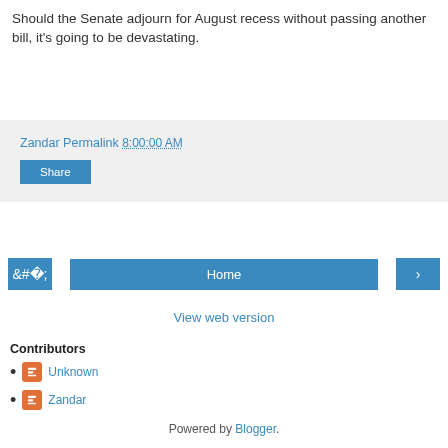Should the Senate adjourn for August recess without passing another bill, it's going to be devastating.
Zandar Permalink 8:00:00 AM
Share
Home
View web version
Contributors
Unknown
Zandar
Powered by Blogger.